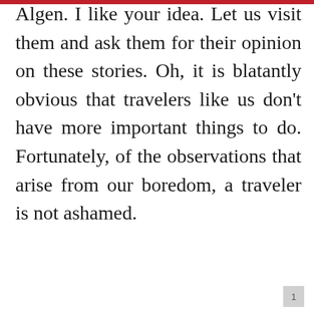Algen. I like your idea. Let us visit them and ask them for their opinion on these stories. Oh, it is blatantly obvious that travelers like us don't have more important things to do. Fortunately, of the observations that arise from our boredom, a traveler is not ashamed.
1